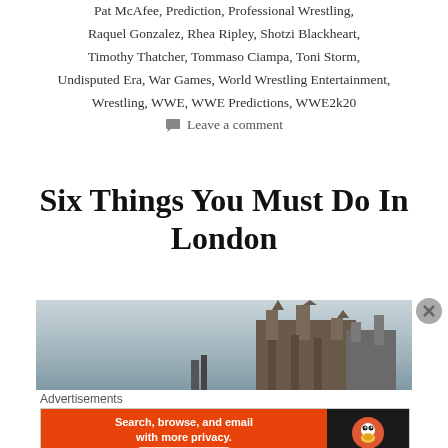Pat McAfee, Prediction, Professional Wrestling, Raquel Gonzalez, Rhea Ripley, Shotzi Blackheart, Timothy Thatcher, Tommaso Ciampa, Toni Storm, Undisputed Era, War Games, World Wrestling Entertainment, Wrestling, WWE, WWE Predictions, WWE2k20
Leave a comment
Six Things You Must Do In London
[Figure (photo): A cityscape photo of London showing gothic architecture buildings (possibly the Natural History Museum or similar) with spires against a grey sky]
Advertisements
[Figure (screenshot): DuckDuckGo advertisement banner: 'Search, browse, and email with more privacy. All in One Free App' with DuckDuckGo logo on black background on the right]